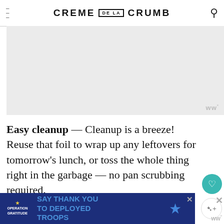CREME DE LA CRUMB
[Figure (other): Gray advertisement/image placeholder area with Mediavine watermark logo in lower right corner]
Easy cleanup — Cleanup is a breeze! Reuse that foil to wrap up any leftovers for tomorrow's lunch, or toss the whole thing right in the garbage — no pan scrubbing required.
Check out my latest video!
[Figure (other): What's Next panel showing thumbnail for Honey Lime Salmon with... article]
[Figure (other): Operation Gratitude advertisement: SAY THANK YOU TO DEPLOYED TROOPS]